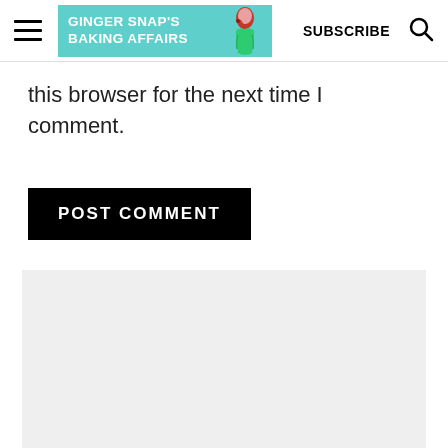GINGER SNAP'S BAKING AFFAIRS | SUBSCRIBE
this browser for the next time I comment.
POST COMMENT
[Figure (other): Gray placeholder/advertisement block]